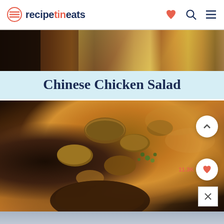recipetineats
[Figure (photo): Top banner showing Chinese chicken salad with shredded cabbage, carrots, and dressing]
Chinese Chicken Salad
[Figure (photo): Close-up of chicken in rich brown mushroom gravy sauce with sliced mushrooms and green herb garnish, in a dark skillet. Interactive buttons: scroll up arrow, 11.3K like count, heart button, and close X button visible.]
[Figure (photo): Partial view of another dish at the bottom of the page]